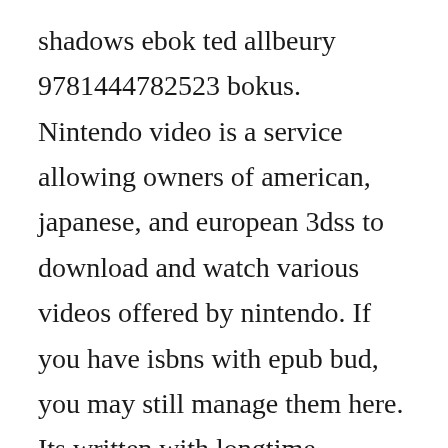shadows ebok ted allbeury 9781444782523 bokus. Nintendo video is a service allowing owners of american, japanese, and european 3dss to download and watch various videos offered by nintendo. If you have isbns with epub bud, you may still manage them here. Its written with longtime collaborator and nopi head chef ramael scully, who brings his distinctive asian twist to the ottolenghi kitchen. Sis agent james lawler has to find out why, but petrov will only say he is scared of being killed like british doubleagent george blake. Doesnt seem to care about format